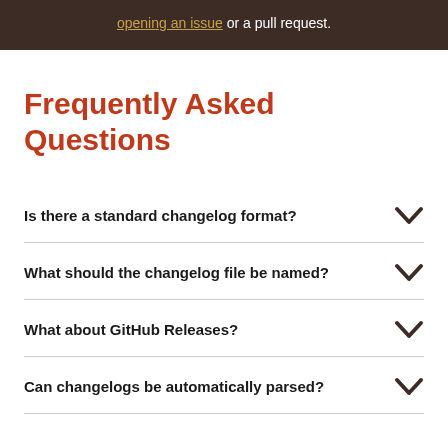opening an issue or a pull request.
Frequently Asked Questions
Is there a standard changelog format?
What should the changelog file be named?
What about GitHub Releases?
Can changelogs be automatically parsed?